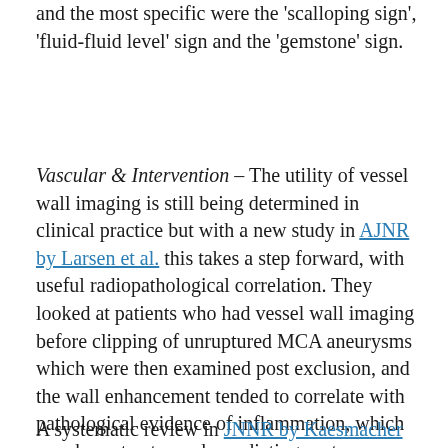and the most specific were the 'scalloping sign', 'fluid-fluid level' sign and the 'gemstone' sign.
Vascular & Intervention – The utility of vessel wall imaging is still being determined in clinical practice but with a new study in AJNR by Larsen et al. this takes a step forward, with useful radiopathological correlation. They looked at patients who had vessel wall imaging before clipping of unruptured MCA aneurysms which were then examined post exclusion, and the wall enhancement tended to correlate with pathological evidence of inflammation, which may be a step towards predicting rupture.
A systematic review in JNNR by Kaesmacher et